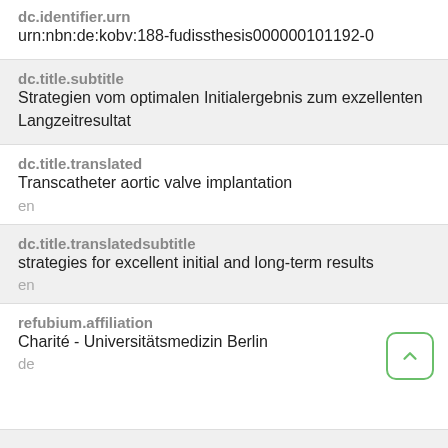dc.identifier.urn
urn:nbn:de:kobv:188-fudissthesis000000101192-0
dc.title.subtitle
Strategien vom optimalen Initialergebnis zum exzellenten Langzeitresultat
dc.title.translated
Transcatheter aortic valve implantation
en
dc.title.translatedsubtitle
strategies for excellent initial and long-term results
en
refubium.affiliation
Charité - Universitätsmedizin Berlin
de